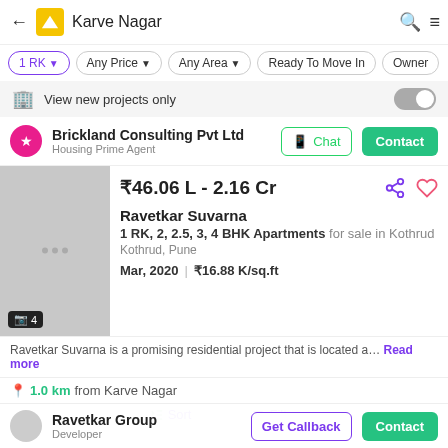Karve Nagar
1 RK | Any Price | Any Area | Ready To Move In | Owner
View new projects only
Brickland Consulting Pvt Ltd
Housing Prime Agent
₹46.06 L - 2.16 Cr
Ravetkar Suvarna
1 RK, 2, 2.5, 3, 4 BHK Apartments for sale in Kothrud
Kothrud, Pune
Mar, 2020  |  ₹16.88 K/sq.ft
Ravetkar Suvarna is a promising residential project that is located a… Read more
1.0 km from Karve Nagar
Ravetkar Group
Developer